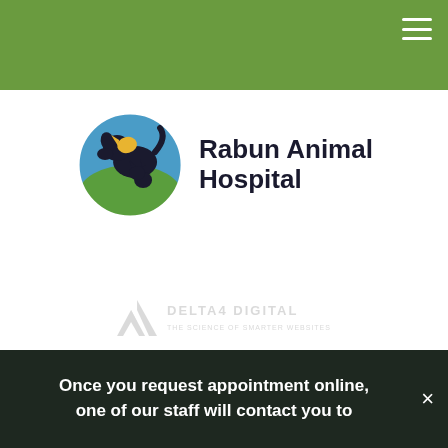Rabun Animal Hospital — navigation header with hamburger menu
[Figure (logo): Rabun Animal Hospital logo: circular icon with dog and cat silhouettes on green/blue background, beside bold text 'Rabun Animal Hospital']
[Figure (logo): Delta4 Digital watermark logo in light gray]
[Figure (logo): Accessibility icon (wheelchair symbol) in white on dark background]
Social icons: Facebook, Instagram
Privacy Policy | Accessibility | Terms & Conditions | Search | Sitemap | Back to Top
Copyright © 2022. All Rights Reserved. Part of the PetVet Care Centers Network. Managed with Tymbrel
Once you request appointment online, one of our staff will contact you to